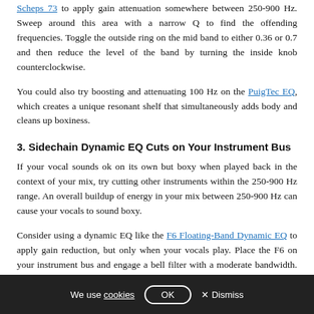Scheps 73 to apply gain attenuation somewhere between 250-900 Hz. Sweep around this area with a narrow Q to find the offending frequencies. Toggle the outside ring on the mid band to either 0.36 or 0.7 and then reduce the level of the band by turning the inside knob counterclockwise.
You could also try boosting and attenuating 100 Hz on the PuigTec EQ, which creates a unique resonant shelf that simultaneously adds body and cleans up boxiness.
3. Sidechain Dynamic EQ Cuts on Your Instrument Bus
If your vocal sounds ok on its own but boxy when played back in the context of your mix, try cutting other instruments within the 250-900 Hz range. An overall buildup of energy in your mix between 250-900 Hz can cause your vocals to sound boxy.
Consider using a dynamic EQ like the F6 Floating-Band Dynamic EQ to apply gain reduction, but only when your vocals play. Place the F6 on your instrument bus and engage a bell filter with a moderate bandwidth. Set the
We use cookies  OK  × Dismiss